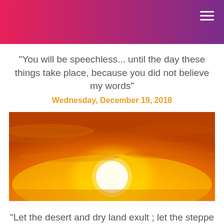"You will be speechless... until the day these things take place, because you did not believe my words"
Wednesday, December 19, 2018
[Figure (photo): A golden sunrise or sunset with a bright white sun near the horizon, orange and yellow sky with clouds]
"Let the desert and dry land exult ; let the steppe rejoice and bloom" (Is 35:1)
Sunday, December 9, 2018